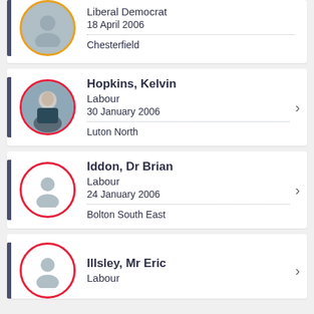Liberal Democrat | 18 April 2006 | Chesterfield
Hopkins, Kelvin | Labour | 30 January 2006 | Luton North
Iddon, Dr Brian | Labour | 24 January 2006 | Bolton South East
Illsley, Mr Eric | Labour